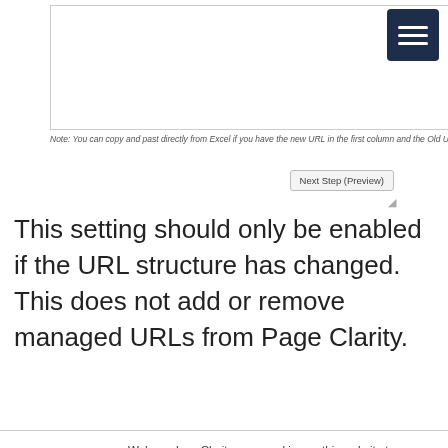[Figure (screenshot): Text area input box with border]
[Figure (screenshot): Dark navy hamburger menu button with three white horizontal lines]
Note: You can copy and past directly from Excel if you have the new URL in the first column and the Old URL in the second c...
Next Step (Preview)
This setting should only be enabled if the URL structure has changed. This does not add or remove managed URLs from Page Clarity.
Welcome! seoClarity uses cookies on this website to provide a more user-friendly, customized experience. We don't collect any personally identifiable information without your digital consent.
Privacy Policy

If you decline, a single cookie will be used in your browser to remember your preference not to be tracked.
Accept
Decline